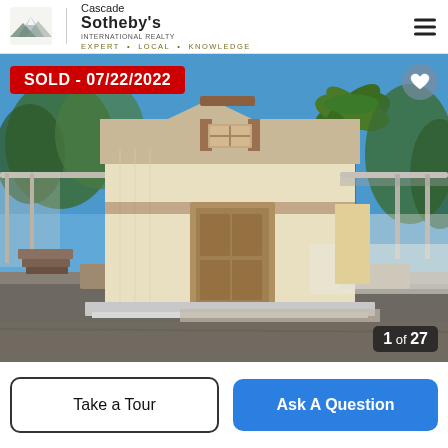Cascade Sotheby's International Realty — EXPERT • LOCAL • KNOWLEDGE
[Figure (photo): Exterior photo of a manufactured/mobile home with cream/tan siding, brown trim, carport on right side, wooden stairs on left, paved driveway, palm tree and green trees in background, blue sky. Red banner overlay: SOLD - 07/22/2022. Photo counter: 1 of 27.]
SOLD - 07/22/2022
1 of 27
Take a Tour
Ask A Question